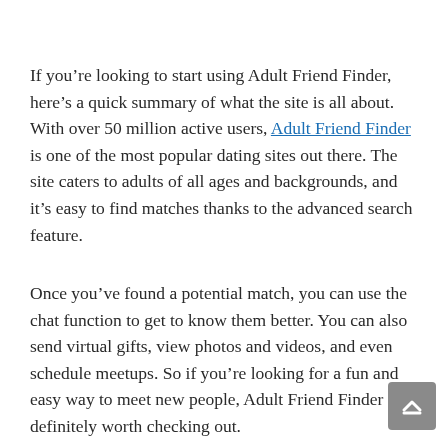If you're looking to start using Adult Friend Finder, here's a quick summary of what the site is all about. With over 50 million active users, Adult Friend Finder is one of the most popular dating sites out there. The site caters to adults of all ages and backgrounds, and it's easy to find matches thanks to the advanced search feature.
Once you've found a potential match, you can use the chat function to get to know them better. You can also send virtual gifts, view photos and videos, and even schedule meetups. So if you're looking for a fun and easy way to meet new people, Adult Friend Finder is definitely worth checking out.